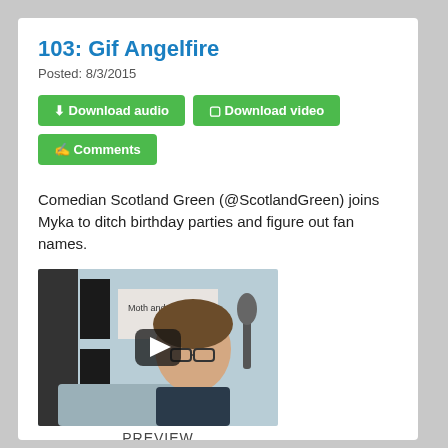103: Gif Angelfire
Posted: 8/3/2015
Download audio
Download video
Comments
Comedian Scotland Green (@ScotlandGreen) joins Myka to ditch birthday parties and figure out fan names.
[Figure (photo): Video thumbnail showing a man with glasses smiling in a podcast recording studio, with a banner reading 'Moth and The Go' visible in background, with a play button overlay]
PREVIEW
[Figure (photo): Video thumbnail showing a smiling woman with headphones in a recording studio with dark acoustic foam background, with a play button overlay]